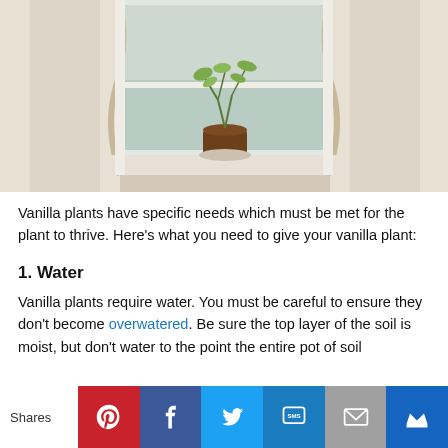[Figure (photo): A small plant in a brown pot sitting on a white window sill, with white curtains on either side and a foggy outdoor view through the window.]
Vanilla plants have specific needs which must be met for the plant to thrive. Here's what you need to give your vanilla plant:
1. Water
Vanilla plants require water. You must be careful to ensure they don't become overwatered. Be sure the top layer of the soil is moist, but don't water to the point the entire pot of soil